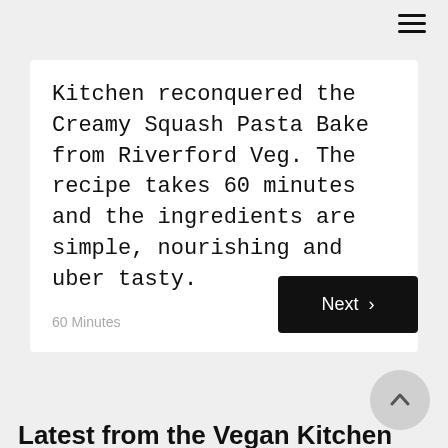[Figure (other): Hamburger menu icon with three horizontal lines, top right corner]
Kitchen reconquered the Creamy Squash Pasta Bake from Riverford Veg. The recipe takes 60 minutes and the ingredients are simple, nourishing and uber tasty.
60 Minutes
Next ›
[Figure (other): Circular up-arrow button (scroll to top)]
Latest from the Vegan Kitchen